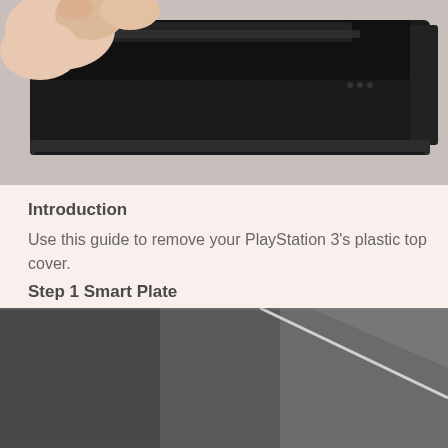[Figure (photo): Hands holding and manipulating a PlayStation 3 console, showing the top section of the device on a light grey surface]
Introduction
Use this guide to remove your PlayStation 3's plastic top cover.
Step 1 Smart Plate
[Figure (photo): Close-up of the dark grey plastic top cover of a PlayStation 3 console with a white diagonal line/seam visible]